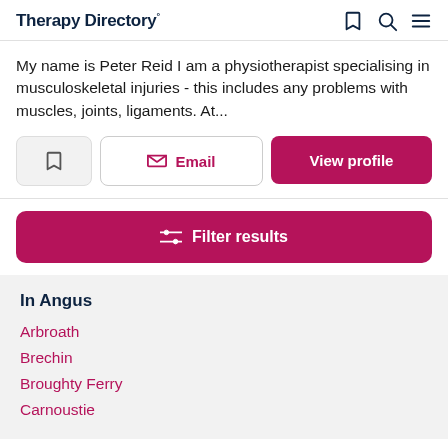Therapy Directory°
My name is Peter Reid I am a physiotherapist specialising in musculoskeletal injuries - this includes any problems with muscles, joints, ligaments. At...
Email | View profile
Filter results
In Angus
Arbroath
Brechin
Broughty Ferry
Carnoustie